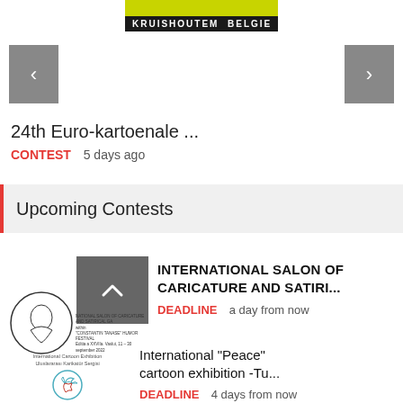[Figure (logo): Banner with green stripe and 'KRUISHOUTEM BELGIE' text on dark background]
[Figure (other): Left navigation arrow button (grey box with '<')]
[Figure (other): Right navigation arrow button (grey box with '>')]
24th Euro-kartoenale ...
CONTEST  5 days ago
Upcoming Contests
[Figure (illustration): Thumbnail for International Salon of Caricature and Satirical Art contest with grey box and circular logo]
INTERNATIONAL SALON OF CARICATURE AND SATIRI...
DEADLINE  a day from now
[Figure (illustration): International Cartoon Exhibition - Uluslararasi Karikatür Sergisi circular logo with dove illustration]
International "Peace" cartoon exhibition -Tu...
DEADLINE  4 days from now